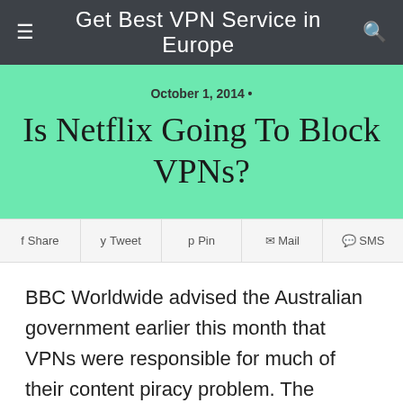Get Best VPN Service in Europe
October 1, 2014 •
Is Netflix Going To Block VPNs?
Share  Tweet  Pin  Mail  SMS
BBC Worldwide advised the Australian government earlier this month that VPNs were responsible for much of their content piracy problem. The government responded by calling on Netflix to block VPN traffic to their site so that Australian users would be denied access to the streaming service. Hulu did the same last month, but HMA tells Aussies not to